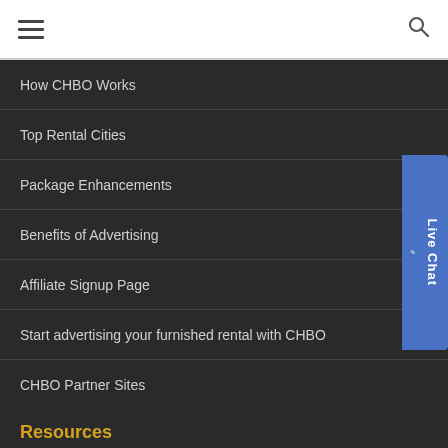Navigation header with hamburger menu and search icon
How CHBO Works
Top Rental Cities
Package Enhancements
Benefits of Advertising
Affiliate Signup Page
Start advertising your furnished rental with CHBO
CHBO Partner Sites
Resources
Help Center/FAQs
Docusign by CHBO